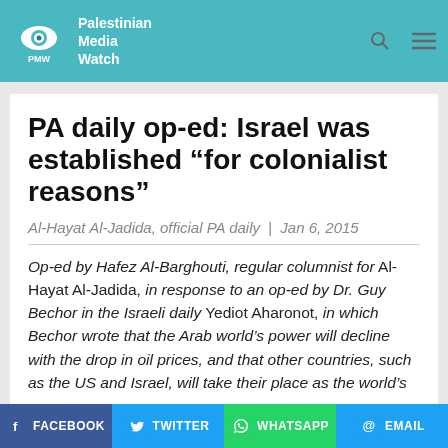Palestinian Media Watch
PA daily op-ed: Israel was established “for colonialist reasons”
Al-Hayat Al-Jadida, official PA daily | Jan 6, 2015
Op-ed by Hafez Al-Barghouti, regular columnist for Al-Hayat Al-Jadida, in response to an op-ed by Dr. Guy Bechor in the Israeli daily Yediot Aharonot, in which Bechor wrote that the Arab world’s power will decline with the drop in oil prices, and that other countries, such as the US and Israel, will take their place as the world’s
FACEBOOK | TWITTER | WHATSAPP | EMAIL